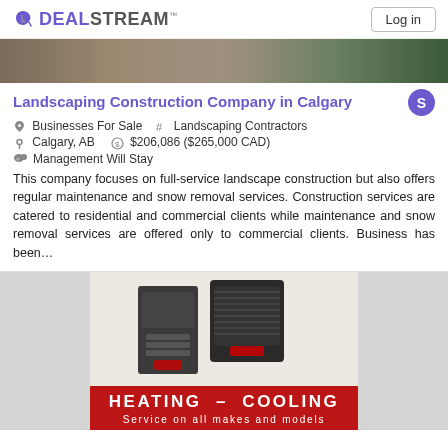DEALSTREAM™   Log in
[Figure (photo): Landscaping/paving photo showing stone path and green grass]
Landscaping Construction Company in Calgary
Businesses For Sale   # Landscaping Contractors
Calgary, AB   $206,086 ($265,000 CAD)
Management Will Stay
This company focuses on full-service landscape construction but also offers regular maintenance and snow removal services. Construction services are catered to residential and commercial clients while maintenance and snow removal services are offered only to commercial clients. Business has been...
[Figure (photo): HVAC equipment photo showing a furnace and air conditioner unit with red banner: HEATING - COOLING, Service on all makes and models]